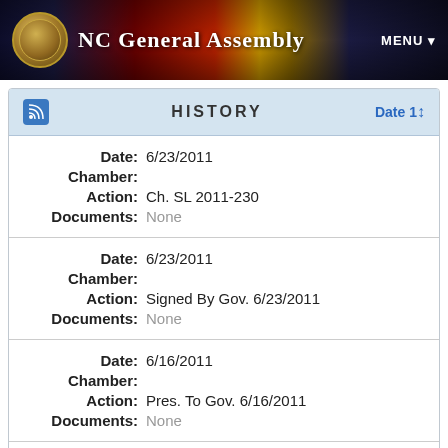NC General Assembly
HISTORY
| Field | Value |
| --- | --- |
| Date: | 6/23/2011 |
| Chamber: |  |
| Action: | Ch. SL 2011-230 |
| Documents: | None |
| Date: | 6/23/2011 |
| Chamber: |  |
| Action: | Signed By Gov. 6/23/2011 |
| Documents: | None |
| Date: | 6/16/2011 |
| Chamber: |  |
| Action: | Pres. To Gov. 6/16/2011 |
| Documents: | None |
| Date: | 6/15/2011 |
| Chamber: |  |